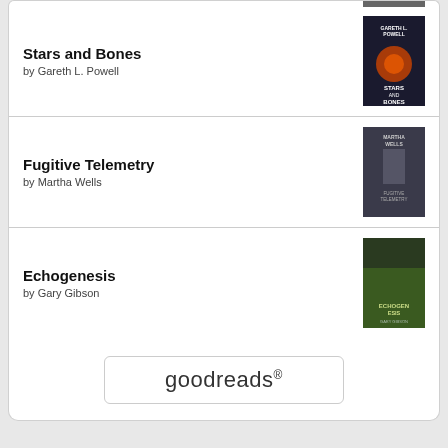Stars and Bones by Gareth L. Powell
Fugitive Telemetry by Martha Wells
Echogenesis by Gary Gibson
[Figure (logo): goodreads logo inside a rounded rectangle button]
ANNUAL ARCHIVE
2022